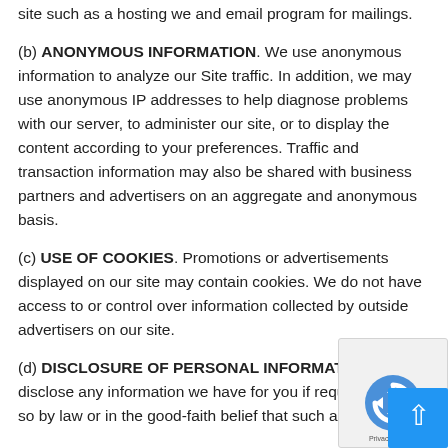site such as a hosting we and email program for mailings.
(b) ANONYMOUS INFORMATION. We use anonymous information to analyze our Site traffic. In addition, we may use anonymous IP addresses to help diagnose problems with our server, to administer our site, or to display the content according to your preferences. Traffic and transaction information may also be shared with business partners and advertisers on an aggregate and anonymous basis.
(c) USE OF COOKIES. Promotions or advertisements displayed on our site may contain cookies. We do not have access to or control over information collected by outside advertisers on our site.
(d) DISCLOSURE OF PERSONAL INFORMATION. may disclose any information we have for you if required to do so by law or in the good-faith belief that such action